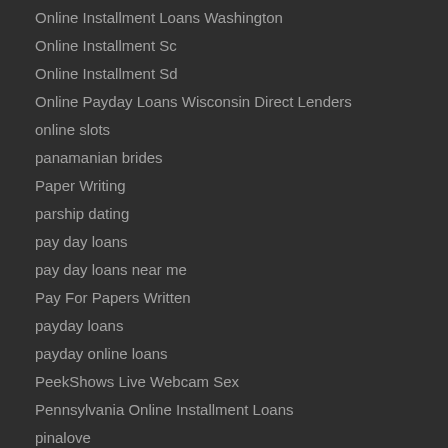Online Installment Loans Washington
Online Installment Sc
Online Installment Sd
Online Payday Loans Wisconsin Direct Lenders
online slots
panamanian brides
Paper Writing
parship dating
pay day loans
pay day loans near me
Pay For Papers Written
payday loans
payday online loans
PeekShows Live Webcam Sex
Pennsylvania Online Installment Loans
pinalove
polish women